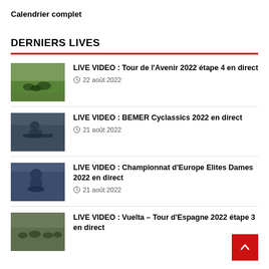Calendrier complet
DERNIERS LIVES
LIVE VIDEO : Tour de l'Avenir 2022 étape 4 en direct
22 août 2022
LIVE VIDEO : BEMER Cyclassics 2022 en direct
21 août 2022
LIVE VIDEO : Championnat d'Europe Elites Dames 2022 en direct
21 août 2022
LIVE VIDEO : Vuelta – Tour d'Espagne 2022 étape 3 en direct